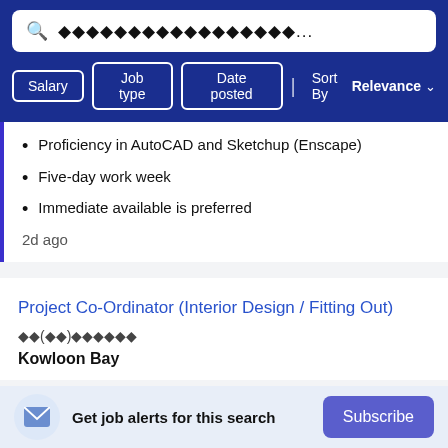[Figure (screenshot): Search bar with magnifying glass icon and encoded/garbled placeholder text ending in ellipsis]
Salary | Job type | Date posted | Sort By Relevance
Proficiency in AutoCAD and Sketchup (Enscape)
Five-day work week
Immediate available is preferred
2d ago
Project Co-Ordinator (Interior Design / Fitting Out)
��(��)������
Kowloon Bay
Get job alerts for this search